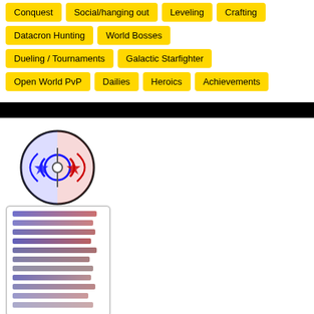Conquest
Social/hanging out
Leveling
Crafting
Datacron Hunting
World Bosses
Dueling / Tournaments
Galactic Starfighter
Open World PvP
Dailies
Heroics
Achievements
[Figure (logo): House of Serenity / House of Malice guild logo: circular emblem with blue Jedi Order symbol on left and red Imperial symbol on right, with horizontal colored rank bars below]
House of Serenity / House of Malice
We are a casual, non-rp guild that focuses on conquest, and helping each other.